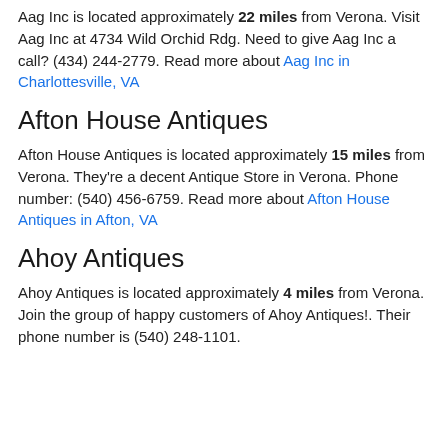Aag Inc is located approximately 22 miles from Verona. Visit Aag Inc at 4734 Wild Orchid Rdg. Need to give Aag Inc a call? (434) 244-2779. Read more about Aag Inc in Charlottesville, VA
Afton House Antiques
Afton House Antiques is located approximately 15 miles from Verona. They're a decent Antique Store in Verona. Phone number: (540) 456-6759. Read more about Afton House Antiques in Afton, VA
Ahoy Antiques
Ahoy Antiques is located approximately 4 miles from Verona. Join the group of happy customers of Ahoy Antiques!. Their phone number is (540) 248-1101.